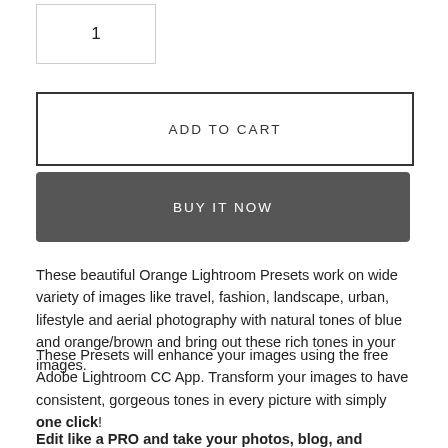1
ADD TO CART
BUY IT NOW
These beautiful Orange Lightroom Presets work on wide variety of images like travel, fashion, landscape, urban, lifestyle and aerial photography with natural tones of blue and orange/brown and bring out these rich tones in your images.
These Presets will enhance your images using the free Adobe Lightroom CC App. Transform your images to have consistent, gorgeous tones in every picture with simply one click!
Edit like a PRO and take your photos, blog, and Instagram